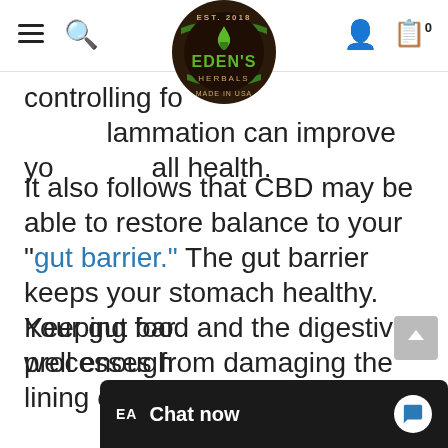Eden's Herbals navigation header with hamburger menu, search, logo, user icon, and cart (0)
[Figure (logo): Eden's Herbals circular logo: EST. 2018, green flame/leaf, MADE IN USA, dark brown and green]
controlling fo...lammation can improve yo...all health.
It also follows that CBD may be able to restore balance to your "gut barrier." The gut barrier keeps your stomach healthy. Keeping food and the digestive processes from damaging the lining of your intestines.
Your gut bar... well enough...